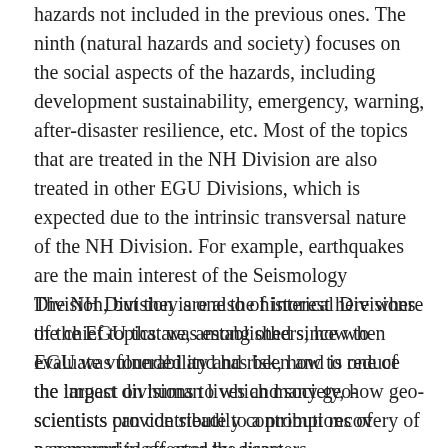hazards not included in the previous ones. The ninth (natural hazards and society) focuses on the social aspects of the hazards, including development sustainability, emergency, warning, after-disaster resilience, etc. Most of the topics that are treated in the NH Division are also treated in other EGU Divisions, which is expected due to the intrinsic transversal nature of the NH Division. For example, earthquakes are the main interest of the Seismology Division, but they are also of interest here where the chief topics are, among others, how to evaluate vulnerability and risk, how to reduce the impact on human lives and society, how geo-scientists can contribute to a prompt recovery of a community affected by disasters.
The NH Division is one the historical Divisions of the EGU that was established since when EGU was founded and has been and is one of the largest divisions to which many geo-scientists provide steadily contributions of papers and ideas over the years.